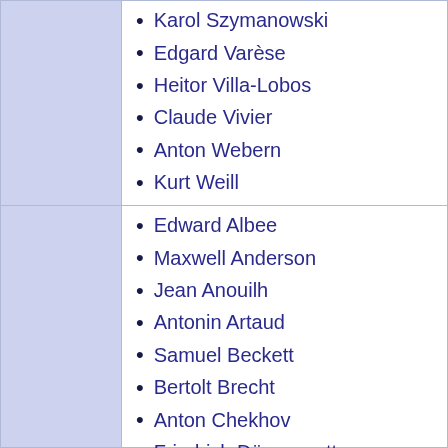Karol Szymanowski
Edgard Varèse
Heitor Villa-Lobos
Claude Vivier
Anton Webern
Kurt Weill
Iannis Xenakis
Edward Albee
Maxwell Anderson
Jean Anouilh
Antonin Artaud
Samuel Beckett
Bertolt Brecht
Anton Chekhov
Friedrich Dürrenmatt
Jean Genet
Maxim Gorky
Walter Hasenclever